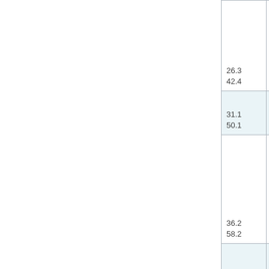| Distance | Exit |
| --- | --- |
| 26.3
42.4 | Exit #24 |
| 31.1
50.1 | Exit #29 |
| 36.2
58.2 | Exit #34 |
| 44.6
71.7 | Exit #42 |
| 51.6 |  |